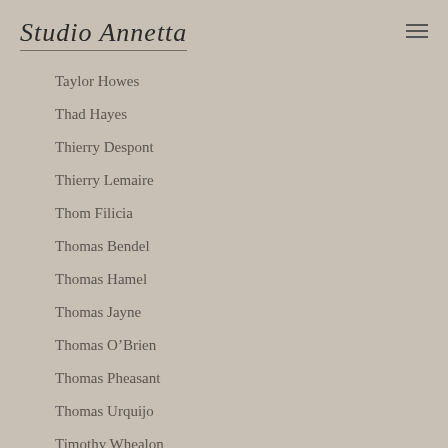Studio Annetta
Taylor Howes
Thad Hayes
Thierry Despont
Thierry Lemaire
Thom Filicia
Thomas Bendel
Thomas Hamel
Thomas Jayne
Thomas O’Brien
Thomas Pheasant
Thomas Urquijo
Timothy Whealon
Todd Alexander Romano
Todd Klein
Todd Yoggy